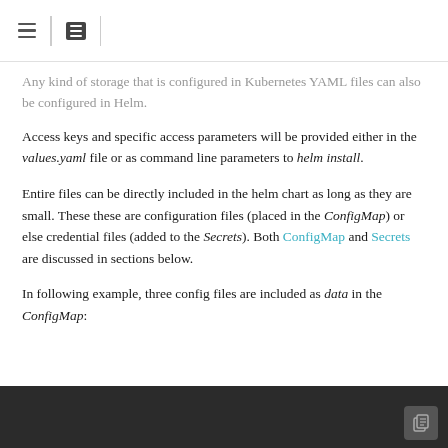[hamburger icon] | [list icon]
Any kind of storage that is configured in Kubernetes YAML files can also be configured in Helm.
Access keys and specific access parameters will be provided either in the values.yaml file or as command line parameters to helm install.
Entire files can be directly included in the helm chart as long as they are small. These these are configuration files (placed in the ConfigMap) or else credential files (added to the Secrets). Both ConfigMap and Secrets are discussed in sections below.
In following example, three config files are included as data in the ConfigMap: